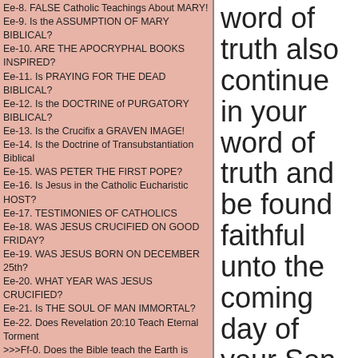Ee-8. FALSE Catholic Teachings About MARY!
Ee-9. Is the ASSUMPTION OF MARY BIBLICAL?
Ee-10. ARE THE APOCRYPHAL BOOKS INSPIRED?
Ee-11. Is PRAYING FOR THE DEAD BIBLICAL?
Ee-12. Is the DOCTRINE of PURGATORY BIBLICAL?
Ee-13. Is the Crucifix a GRAVEN IMAGE!
Ee-14. Is the Doctrine of Transubstantiation Biblical
Ee-15. WAS PETER THE FIRST POPE?
Ee-16. Is Jesus in the Catholic Eucharistic HOST?
Ee-17. TESTIMONIES OF CATHOLICS
Ee-18. WAS JESUS CRUCIFIED ON GOOD FRIDAY?
Ee-19. WAS JESUS BORN ON DECEMBER 25th?
Ee-20. WHAT YEAR WAS JESUS CRUCIFIED?
Ee-21. Is THE SOUL OF MAN IMMORTAL?
Ee-22. Does Revelation 20:10 Teach Eternal Torment
>>>Ff-0. Does the Bible teach the Earth is FLAT?<<<
Ff-1. Is THE EARTH FLAT?
Ee-23. Is THE DOCTRINE OF HELL BIBLICAL?
Ff-2. Is the EARTH a SPHERE CALLED the GLOBE?
Ff-3. WHAT ARE THE PILLARS OF THE EARTH?
Ff-4. Is the EARTH SITTING ON A FOUNDATION?
Ff-5. THE LIES OF NASA AND SCIENTISTS!
Ff-6. Is THE EARTH COVERED by a DOME?
word of truth also continue in your word of truth and be found faithful unto the coming day of your Son, Jesus Christ.
          I
now
commit my